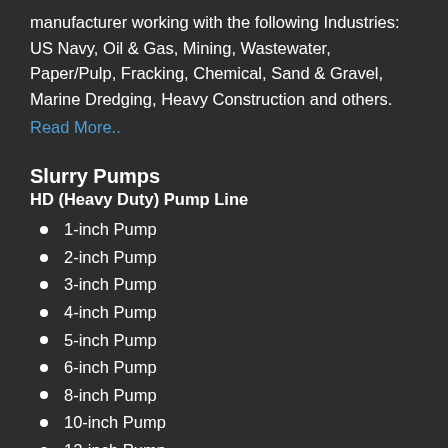manufacturer working with the following Industries: US Navy, Oil & Gas, Mining, Wastewater, Paper/Pulp, Fracking, Chemical, Sand & Gravel, Marine Dredging, Heavy Construction and others.
Read More..
Slurry Pumps
HD (Heavy Duty) Pump Line
1-inch Pump
2-inch Pump
3-inch Pump
4-inch Pump
5-inch Pump
6-inch Pump
8-inch Pump
10-inch Pump
12-inch Pump